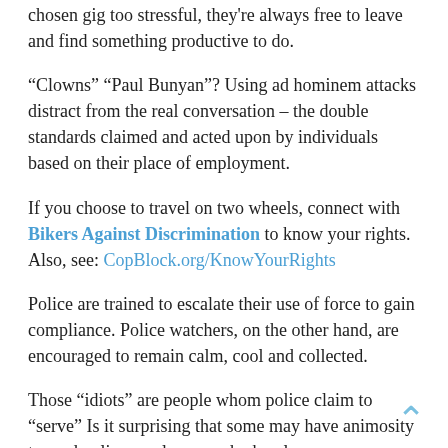chosen gig too stressful, they're always free to leave and find something productive to do.
“Clowns” “Paul Bunyan”? Using ad hominem attacks distract from the real conversation – the double standards claimed and acted upon by individuals based on their place of employment.
If you choose to travel on two wheels, connect with Bikers Against Discrimination to know your rights. Also, see: CopBlock.org/KnowYourRights
Police are trained to escalate their use of force to gain compliance. Police watchers, on the other hand, are encouraged to remain calm, cool and collected.
Those “idiots” are people whom police claim to “serve” Is it surprising that some may have animosity toward police employees, who hassle, ransom or cage them for engaging in actions that cause no victim?